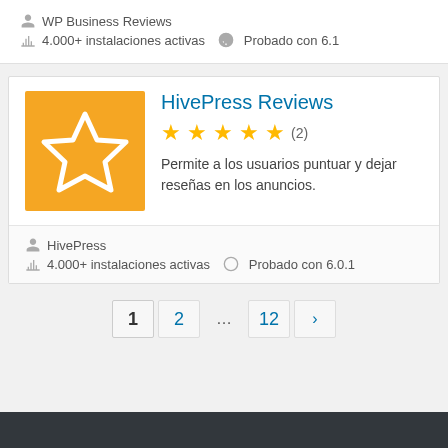WP Business Reviews
4.000+ instalaciones activas  Probado con 6.1
HivePress Reviews
★★★★★ (2)
Permite a los usuarios puntuar y dejar reseñas en los anuncios.
HivePress
4.000+ instalaciones activas  Probado con 6.0.1
1  2  ...  12  ›